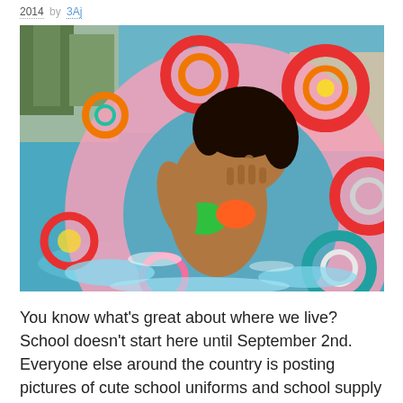2014 by 3Aj
[Figure (photo): A girl laughing in a swimming pool holding a large colorful inflatable ring with circle patterns in red, orange, yellow, teal, and pink colors. The pool water splashes around her.]
You know what's great about where we live? School doesn't start here until September 2nd. Everyone else around the country is posting pictures of cute school uniforms and school supply lists and we are still knee